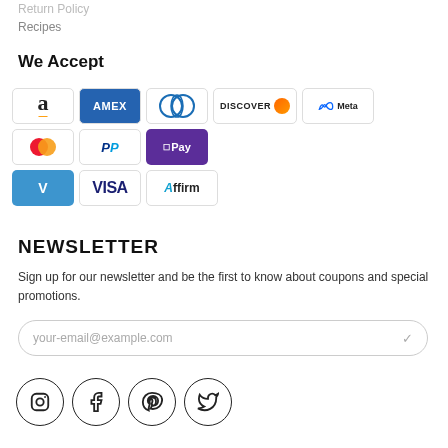Return Policy
Recipes
We Accept
[Figure (other): Payment method logos: Amazon, Amex, Diners Club, Discover, Meta Pay, Mastercard, PayPal, Google Pay, Venmo, Visa, Affirm]
NEWSLETTER
Sign up for our newsletter and be the first to know about coupons and special promotions.
your-email@example.com
[Figure (other): Social media icons: Instagram, Facebook, Pinterest, Twitter]